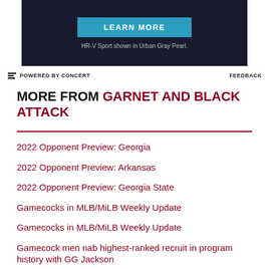[Figure (other): Dark advertisement banner with a 'LEARN MORE' blue button and caption 'HR-V Sport shown in Urban Gray Pearl.']
POWERED BY CONCERT   FEEDBACK
MORE FROM GARNET AND BLACK ATTACK
2022 Opponent Preview: Georgia
2022 Opponent Preview: Arkansas
2022 Opponent Preview: Georgia State
Gamecocks in MLB/MiLB Weekly Update
Gamecocks in MLB/MiLB Weekly Update
Gamecock men nab highest-ranked recruit in program history with GG Jackson